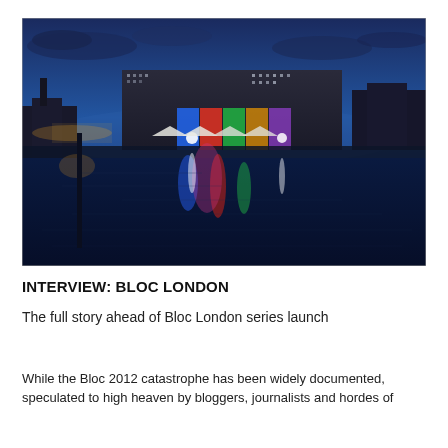[Figure (photo): Night-time cityscape with illuminated building reflected in water. The large building is lit with colorful lights (blue, red, green) and white tent structures are visible along the waterfront. Dark blue sky with clouds in the background.]
INTERVIEW: BLOC LONDON
The full story ahead of Bloc London series launch
While the Bloc 2012 catastrophe has been widely documented, speculated to high heaven by bloggers, journalists and hordes of